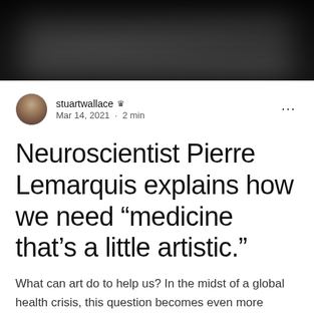[Figure (photo): Dark header image, appears to be a close-up photo with dark/black tones forming a banner at the top of the article]
stuartwallace ♛
Mar 14, 2021 · 2 min
Neuroscientist Pierre Lemarquis explains how we need "medicine that's a little artistic."
What can art do to help us? In the midst of a global health crisis, this question becomes even more urgent. While museums remain...